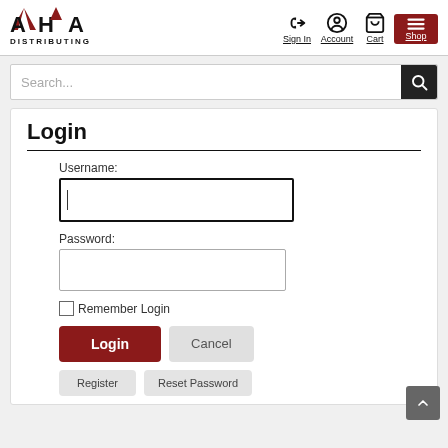[Figure (logo): AHA Distributing logo with red triangle graphic]
Sign In  Account  Cart  Shop
Search...
Login
Username:
Password:
Remember Login
Login
Cancel
Register
Reset Password